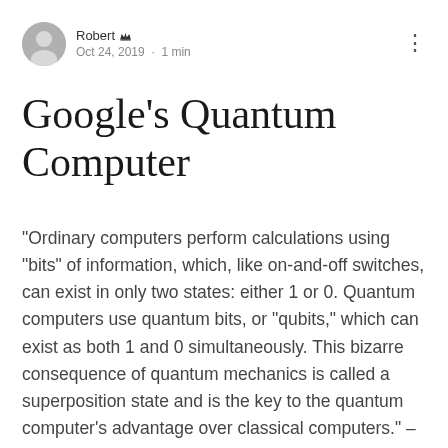Robert · Oct 24, 2019 · 1 min
Google's Quantum Computer
"Ordinary computers perform calculations using "bits" of information, which, like on-and-off switches, can exist in only two states: either 1 or 0. Quantum computers use quantum bits, or "qubits," which can exist as both 1 and 0 simultaneously. This bizarre consequence of quantum mechanics is called a superposition state and is the key to the quantum computer's advantage over classical computers." – By Tim Childers, full article at: